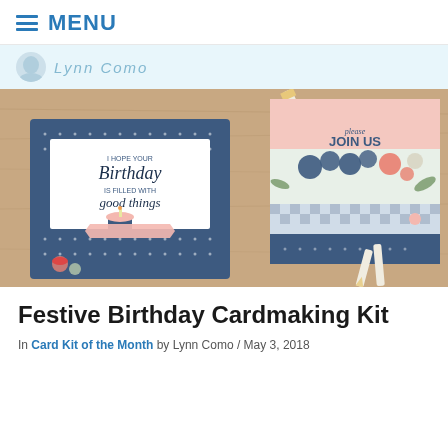≡ MENU
[Figure (photo): Two handmade birthday cards on a wooden surface with white pencil/candle props. Left card has navy blue dotted background with white panel reading 'I hope your Birthday is filled with good things' and a cupcake illustration with pink ribbon. Right card has 'JOIN US' text with floral decorations in navy and pink/coral.]
Festive Birthday Cardmaking Kit
In Card Kit of the Month by Lynn Como / May 3, 2018